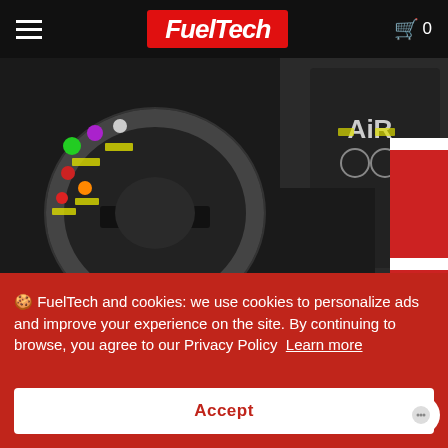FuelTech — navigation bar with hamburger menu and cart (0 items)
[Figure (photo): Close-up photograph of a racing car steering wheel (Sparco branded) with multiple colored buttons and switches, alongside racing helmet and driver's glove, in a dark motorsport cockpit setting]
Fueled BY PASSION
[Figure (photo): FuelTech display device with RGB LED shift light bar showing green, red, and blue LEDs]
🍪 FuelTech and cookies: we use cookies to personalize ads and improve your experience on the site. By continuing to browse, you agree to our Privacy Policy  Learn more
Accept